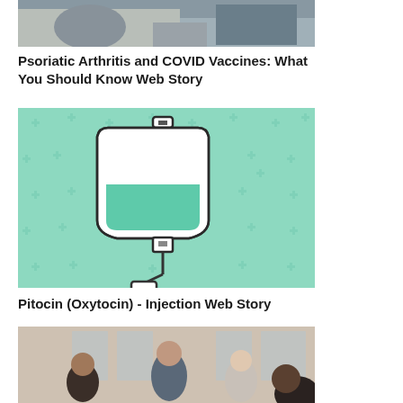[Figure (photo): Photo of a patient in a medical consultation setting, partially cropped at top]
Psoriatic Arthritis and COVID Vaccines: What You Should Know Web Story
[Figure (illustration): Illustration of an IV drip bag on a green teal background with plus signs pattern]
Pitocin (Oxytocin) - Injection Web Story
[Figure (photo): Photo of a group of people in a meeting or discussion setting, partially cropped at bottom]